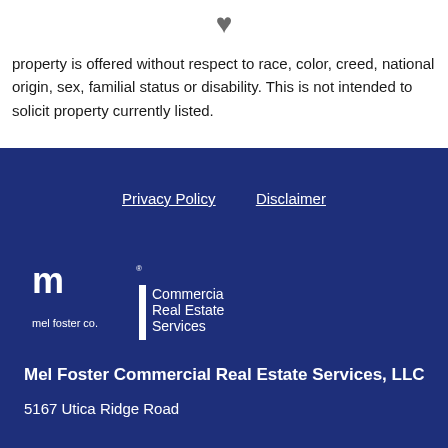[Figure (illustration): Heart icon in gray]
property is offered without respect to race, color, creed, national origin, sex, familial status or disability. This is not intended to solicit property currently listed.
Privacy Policy   Disclaimer
[Figure (logo): Mel Foster Co. Commercial Real Estate Services logo with white text and stylized mf mark on dark blue background]
Mel Foster Commercial Real Estate Services, LLC
5167 Utica Ridge Road